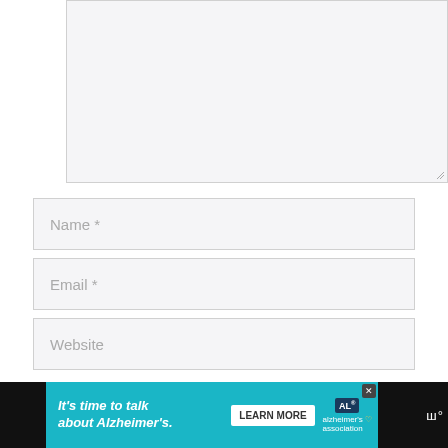[Figure (screenshot): Comment form textarea input box (empty, gray background)]
Name *
Email *
Website
Notify me of follow-up comments by email.
[Figure (screenshot): Advertisement banner: It's time to talk about Alzheimer's. LEARN MORE. Alzheimer's Association logo. Close button. Toolbelt logo on right.]